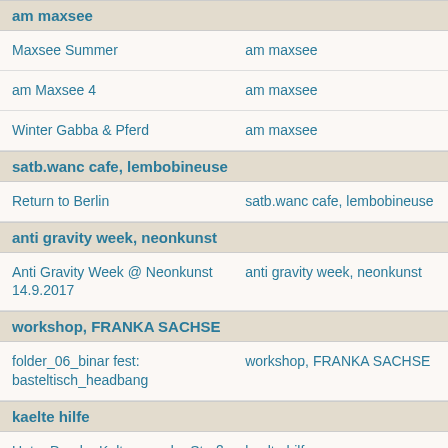am maxsee
| Name | Venue |
| --- | --- |
| Maxsee Summer | am maxsee |
| am Maxsee 4 | am maxsee |
| Winter Gabba & Pferd | am maxsee |
satb.wanc cafe, lembobineuse
| Name | Venue |
| --- | --- |
| Return to Berlin | satb.wanc cafe, lembobineuse |
anti gravity week, neonkunst
| Name | Venue |
| --- | --- |
| Anti Gravity Week @ Neonkunst 14.9.2017 | anti gravity week, neonkunst |
workshop, FRANKA SACHSE
| Name | Venue |
| --- | --- |
| folder_06_binar fest: basteltisch_headbang | workshop, FRANKA SACHSE |
kaelte hilfe
| Name | Venue |
| --- | --- |
| Unter Druck - Kultur von der Straße e.V. Kältehilfe für Obdachlose bei Unter Druck 1. Quartal 2019 | kaelte hilfe |